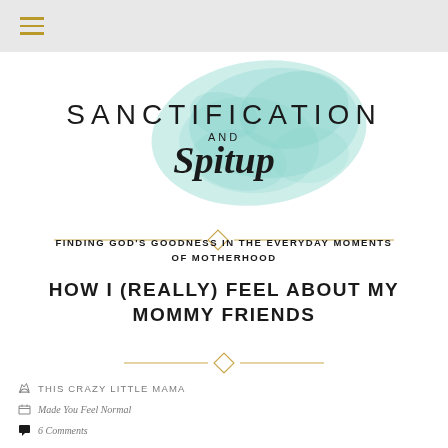Navigation menu (hamburger icon)
[Figure (logo): Sanctification and Spitup blog logo with teal watercolor splash background. Text reads SANCTIFICATION AND Spitup in mixed typography.]
FINDING GOD'S GOODNESS IN THE EVERYDAY MOMENTS OF MOTHERHOOD
HOW I (REALLY) FEEL ABOUT MY MOMMY FRIENDS
THIS CRAZY LITTLE MAMA
Made You Feel Normal
6 Comments